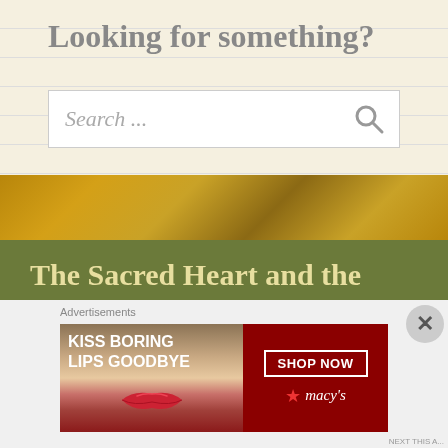Looking for something?
Search ...
[Figure (screenshot): Gold/ornate background image strip]
The Sacred Heart and the Priest, by Bishop Daniel L. Dolan
Advertisements
[Figure (illustration): Macy's advertisement: KISS BORING LIPS GOODBYE with woman's face and red lips, SHOP NOW button and Macy's star logo]